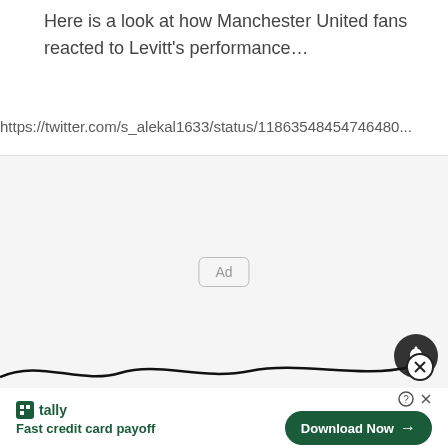Here is a look at how Manchester United fans reacted to Levitt's performance…
https://twitter.com/s_alekal1633/status/11863548454746480...
[Figure (other): Advertisement placeholder box with 'Ad' label in center, on light grey background]
[Figure (other): Dark circular bell/notification icon button]
[Figure (other): Wavy decorative line with circular close (X) button at right end]
[Figure (other): Tally app advertisement banner: Tally logo, 'Fast credit card payoff' text, and 'Download Now' green button with arrow]